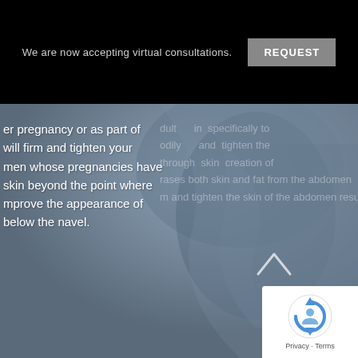We are now accepting virtual consultations.
REQUEST
er pregnancy or as part of will firm and tighten your men whose pregnancies have skin beyond the point where mprove the appearance of below the navel.
[Figure (photo): Background showing an abstract close-up of a torso with draped fabric in blue-gray tones]
[Figure (other): reCAPTCHA badge with Privacy and Terms links]